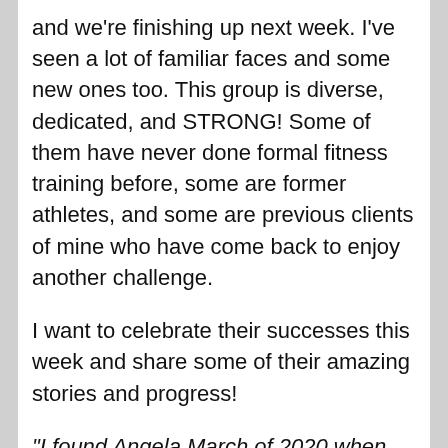and we're finishing up next week. I've seen a lot of familiar faces and some new ones too. This group is diverse, dedicated, and STRONG! Some of them have never done formal fitness training before, some are former athletes, and some are previous clients of mine who have come back to enjoy another challenge.
I want to celebrate their successes this week and share some of their amazing stories and progress!
"I found Angela March of 2020 when the gyms went to hell in a handbasket. My